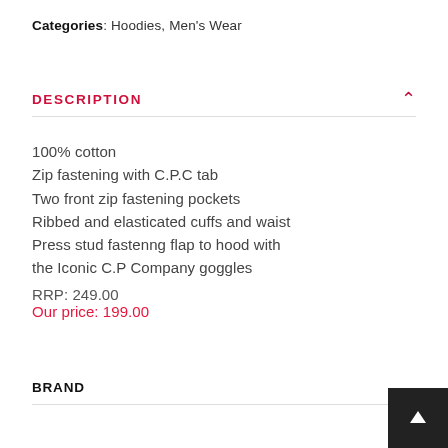Categories: Hoodies, Men's Wear
DESCRIPTION
100% cotton
Zip fastening with C.P.C tab
Two front zip fastening pockets
Ribbed and elasticated cuffs and waist
Press stud fastenng flap to hood with the Iconic C.P Company goggles
RRP: 249.00
Our price: 199.00
BRAND